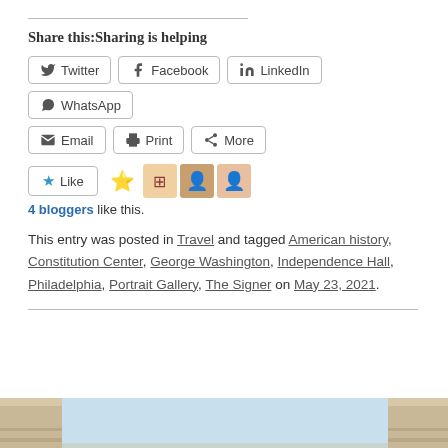Share this:Sharing is helping
Twitter
Facebook
LinkedIn
WhatsApp
Email
Print
More
4 bloggers like this.
This entry was posted in Travel and tagged American history, Constitution Center, George Washington, Independence Hall, Philadelphia, Portrait Gallery, The Signer on May 23, 2021.
[Figure (photo): Interior architectural photo showing ceiling and upper walls of a classical building with blue sky visible]